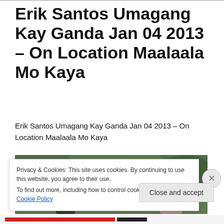Erik Santos Umagang Kay Ganda Jan 04 2013 – On Location Maalaala Mo Kaya
Erik Santos Umagang Kay Ganda Jan 04 2013 – On Location Maalaala Mo Kaya
[Figure (screenshot): YouTube video thumbnail showing Erik Santos Umagang Kay Ganda J... with a circular avatar of a man singing and a background scene of two people outdoors]
Privacy & Cookies: This site uses cookies. By continuing to use this website, you agree to their use.
To find out more, including how to control cookies, see here: Cookie Policy
Close and accept